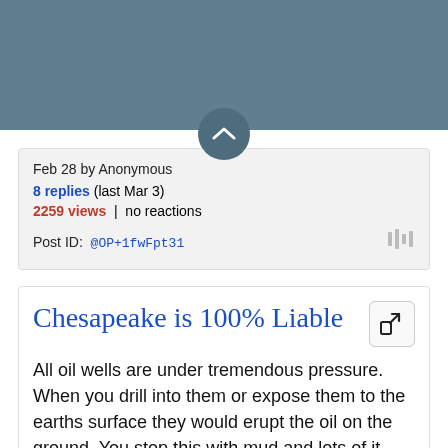[Figure (other): Dark teal/slate colored header bar background]
Feb 28 by Anonymous
8 replies (last Mar 3)
2259 views | no reactions
Post ID: @OP+1fwFpt31
Chesapeake is 100% Liable
All oil wells are under tremendous pressure. When you drill into them or expose them to the earths surface they would erupt the oil on the ground. You stop this with mud and lots of it. The mud type and amount is determined by CHK engineers. They...
— read more